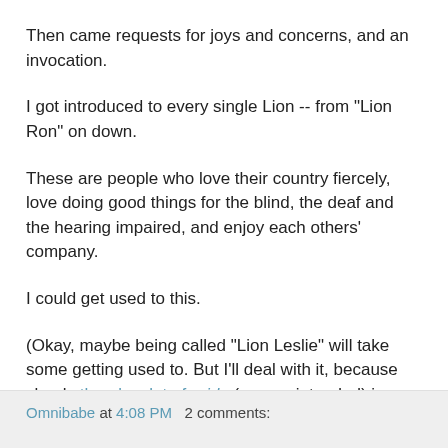Then came requests for joys and concerns, and an invocation.
I got introduced to every single Lion -- from "Lion Ron" on down.
These are people who love their country fiercely, love doing good things for the blind, the deaf and the hearing impaired, and enjoy each others' company.
I could get used to this.
(Okay, maybe being called "Lion Leslie" will take some getting used to. But I'll deal with it, because clearly there's a lot of pride (no pun intended) in being able to use that label.)
Omnibabe at 4:08 PM   2 comments: